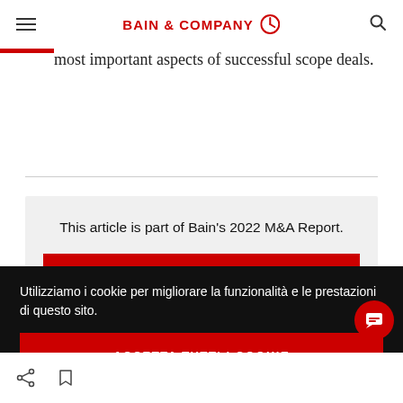BAIN & COMPANY
most important aspects of successful scope deals.
This article is part of Bain's 2022 M&A Report.
EXPLORE THE REPORT
Utilizziamo i cookie per migliorare la funzionalità e le prestazioni di questo sito.
ACCETTA TUTTI I COOKIE